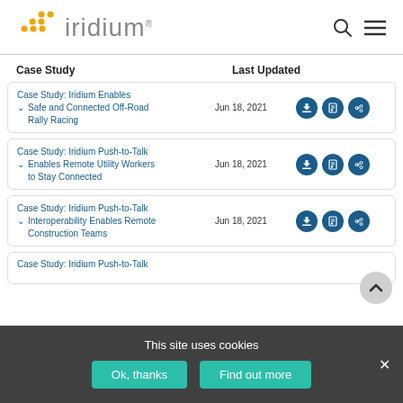[Figure (logo): Iridium logo with yellow dots and grey text]
| Case Study | Last Updated | Actions |
| --- | --- | --- |
| Case Study: Iridium Enables Safe and Connected Off-Road Rally Racing | Jun 18, 2021 | download, cart, share |
| Case Study: Iridium Push-to-Talk Enables Remote Utility Workers to Stay Connected | Jun 18, 2021 | download, cart, share |
| Case Study: Iridium Push-to-Talk Interoperability Enables Remote Construction Teams | Jun 18, 2021 | download, cart, share |
| Case Study: Iridium Push-to-Talk |  |  |
This site uses cookies
Ok, thanks
Find out more